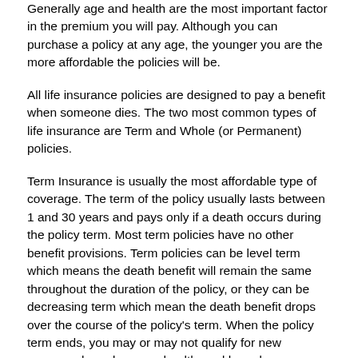Generally age and health are the most important factor in the premium you will pay. Although you can purchase a policy at any age, the younger you are the more affordable the policies will be.
All life insurance policies are designed to pay a benefit when someone dies. The two most common types of life insurance are Term and Whole (or Permanent) policies.
Term Insurance is usually the most affordable type of coverage. The term of the policy usually lasts between 1 and 30 years and pays only if a death occurs during the policy term. Most term policies have no other benefit provisions. Term policies can be level term which means the death benefit will remain the same throughout the duration of the policy, or they can be decreasing term which mean the death benefit drops over the course of the policy's term. When the policy term ends, you may or may not qualify for new coverage based on your health, and based on your age, the cost of the premium may be too high to be affordable.
The advantage of Whole or Permanent Insurance is the death benefit and premium will usually remain the same during the duration of the policy. These policies can also build cash value